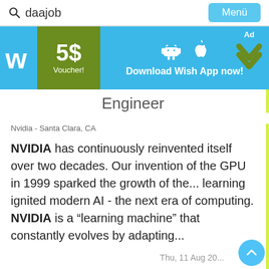daajob | Menü
[Figure (infographic): Wish app advertisement banner: Wish logo, 5$ Voucher!, Download Wish App now! with Android and Apple icons, Ad label with chevron]
Engineer
Nvidia - Santa Clara, CA
NVIDIA has continuously reinvented itself over two decades. Our invention of the GPU in 1999 sparked the growth of the... learning ignited modern AI - the next era of computing. NVIDIA is a “learing machine” that constantly evolves by adapting...
Thu, 11 Aug 20...